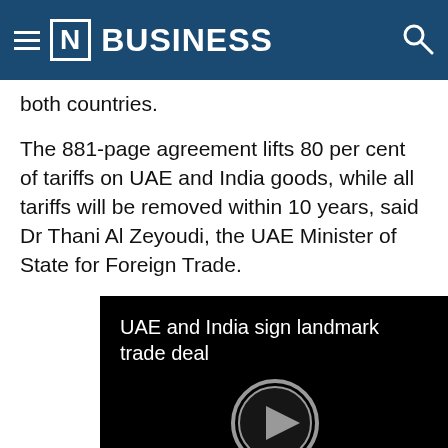[N] BUSINESS
both countries.
The 881-page agreement lifts 80 per cent of tariffs on UAE and India goods, while all tariffs will be removed within 10 years, said Dr Thani Al Zeyoudi, the UAE Minister of State for Foreign Trade.
[Figure (screenshot): Video thumbnail with black background and grey play button icon. Text reads: UAE and India sign landmark trade deal]